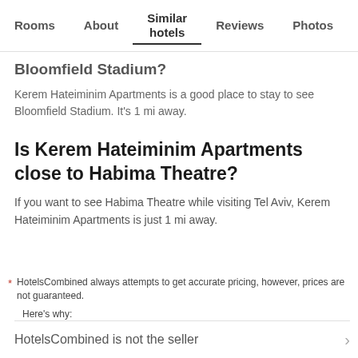Rooms | About | Similar hotels | Reviews | Photos | Loca…
Bloomfield Stadium?
Kerem Hateiminim Apartments is a good place to stay to see Bloomfield Stadium. It's 1 mi away.
Is Kerem Hateiminim Apartments close to Habima Theatre?
If you want to see Habima Theatre while visiting Tel Aviv, Kerem Hateiminim Apartments is just 1 mi away.
* HotelsCombined always attempts to get accurate pricing, however, prices are not guaranteed.
Here's why:
HotelsCombined is not the seller